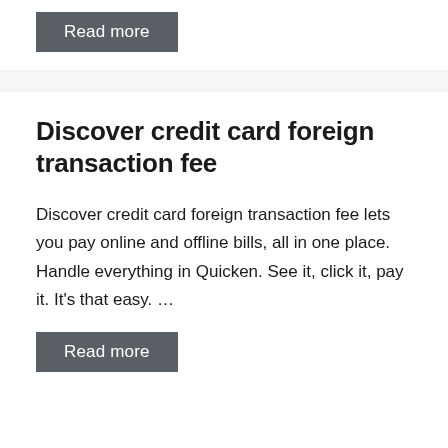Read more
Discover credit card foreign transaction fee
Discover credit card foreign transaction fee lets you pay online and offline bills, all in one place. Handle everything in Quicken. See it, click it, pay it. It's that easy. …
Read more